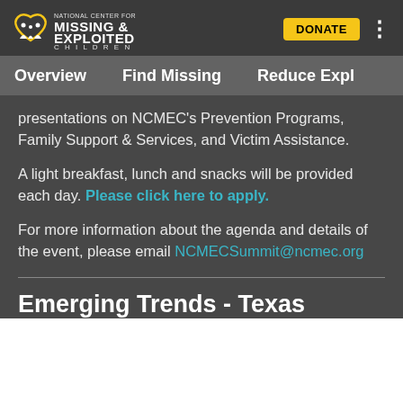National Center for Missing & Exploited Children — DONATE | Overview | Find Missing | Reduce Expl
presentations on NCMEC's Prevention Programs, Family Support & Services, and Victim Assistance.
A light breakfast, lunch and snacks will be provided each day. Please click here to apply.
For more information about the agenda and details of the event, please email NCMECSummit@ncmec.org
Emerging Trends - Texas